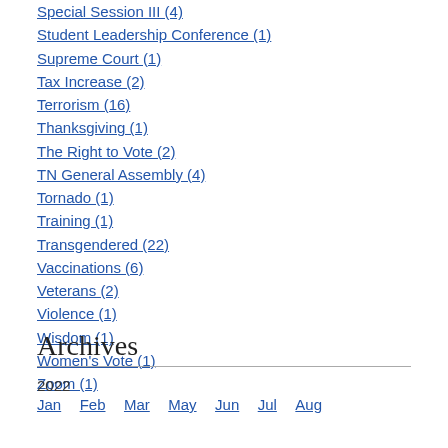Special Session III (4)
Student Leadership Conference (1)
Supreme Court (1)
Tax Increase (2)
Terrorism (16)
Thanksgiving (1)
The Right to Vote (2)
TN General Assembly (4)
Tornado (1)
Training (1)
Transgendered (22)
Vaccinations (6)
Veterans (2)
Violence (1)
Wisdom (1)
Women's Vote (1)
Zoom (1)
Archives
2022
Jan Feb Mar May Jun Jul Aug